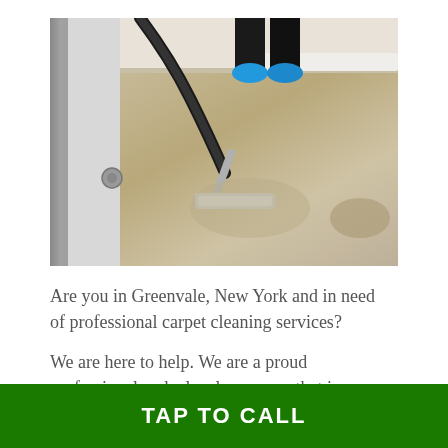[Figure (photo): A carpet cleaning technician wearing blue shoe covers using a professional vacuum/steam cleaning wand on a beige carpet, with a door frame visible on the left side of the image.]
Are you in Greenvale, New York and in need of professional carpet cleaning services?
We are here to help. We are a proud professional and a local company that is committed to quality cleaning carpets.
TAP TO CALL